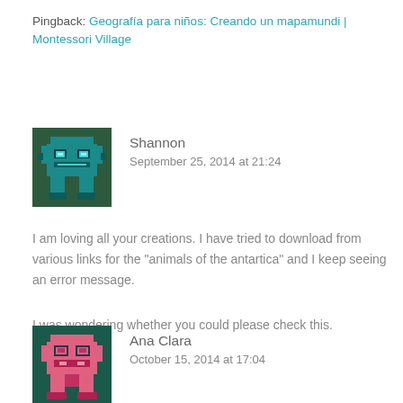Pingback: Geografía para niños: Creando un mapamundi | Montessori Village
[Figure (illustration): Pixel art avatar of a robot/monster in teal and green colors, approximately 88x88px]
Shannon
September 25, 2014 at 21:24
I am loving all your creations. I have tried to download from various links for the "animals of the antartica" and I keep seeing an error message.
I was wondering whether you could please check this.
Thank you
Reply ↓
[Figure (illustration): Pixel art avatar of a robot/monster in pink and teal colors, approximately 88x88px]
Ana Clara
October 15, 2014 at 17:04